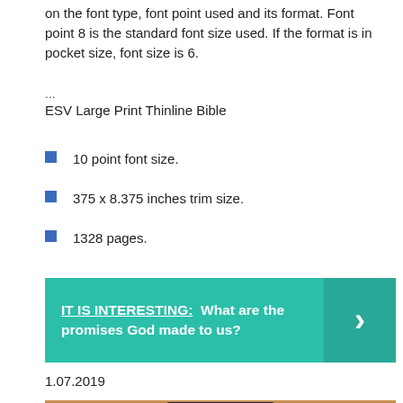on the font type, font point used and its format. Font point 8 is the standard font size used. If the format is in pocket size, font size is 6.
...
ESV Large Print Thinline Bible
10 point font size.
375 x 8.375 inches trim size.
1328 pages.
[Figure (infographic): Green banner with text 'IT IS INTERESTING: What are the promises God made to us?' and a right-arrow chevron on a darker green right panel]
1.07.2019
[Figure (photo): Photo of a black Holy Bible on a wooden surface]